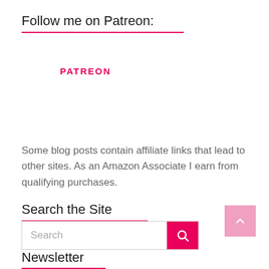Follow me on Patreon:
PATREON
Some blog posts contain affiliate links that lead to other sites. As an Amazon Associate I earn from qualifying purchases.
Search the Site
Newsletter